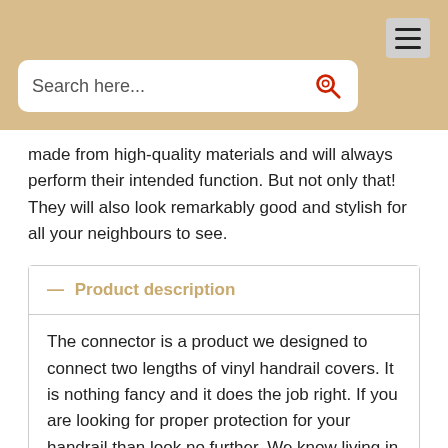[Figure (screenshot): Navigation bar with hamburger menu icon on tan/beige background]
[Figure (screenshot): Search input box with red magnifying glass icon on beige background]
made from high-quality materials and will always perform their intended function. But not only that! They will also look remarkably good and stylish for all your neighbours to see.
— Product description
The connector is a product we designed to connect two lengths of vinyl handrail covers. It is nothing fancy and it does the job right. If you are looking for proper protection for your handrail than look no further. We know living in Canada means we are exposed to all sorts of elements